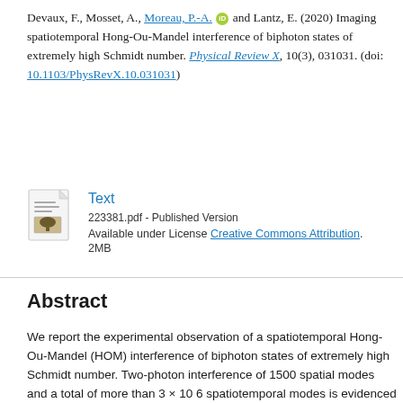Devaux, F., Mosset, A., Moreau, P.-A. and Lantz, E. (2020) Imaging spatiotemporal Hong-Ou-Mandel interference of biphoton states of extremely high Schmidt number. Physical Review X, 10(3), 031031. (doi: 10.1103/PhysRevX.10.031031)
[Figure (other): PDF file icon with document lines and small image thumbnail]
Text
223381.pdf - Published Version
Available under License Creative Commons Attribution.
2MB
Abstract
We report the experimental observation of a spatiotemporal Hong-Ou-Mandel (HOM) interference of biphoton states of extremely high Schmidt number. Two-photon interference of 1500 spatial modes and a total of more than 3 × 10 6 spatiotemporal modes is evidenced by measuring momentum spatial coincidences, without any prior selection of the photons in time and space coincidence, between the pixels of the far-field images of two strongly multimode spontaneous parametric down-conversion (SPDC) beams propagating through a HOM interferometer